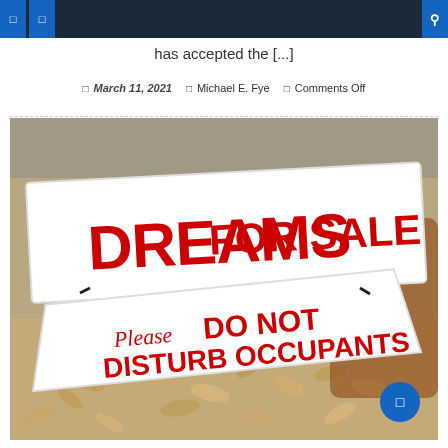Navigation bar
has accepted the [...]
March 11, 2021  Michael E. Fye  Comments Off
[Figure (photo): A yard sign reading 'DREAMS FOR SALE' in large red block letters on white background, with a smaller sign below reading 'Please DO NOT DISTURB OCCUPANTS', photographed against a background of dried leaves and soil.]